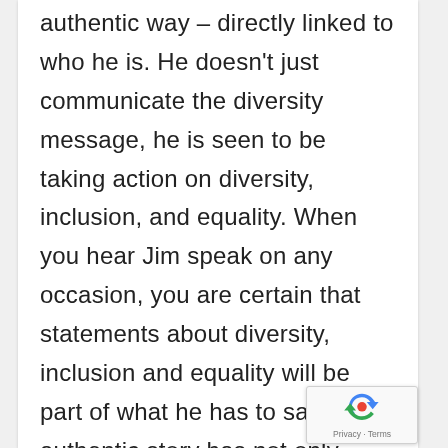authentic way – directly linked to who he is. He doesn't just communicate the diversity message, he is seen to be taking action on diversity, inclusion, and equality. When you hear Jim speak on any occasion, you are certain that statements about diversity, inclusion and equality will be part of what he has to say. His authentic story has not only strengthened his personal brand, but also reaped many benefits for Dow, positioning it as a company where these things matter.